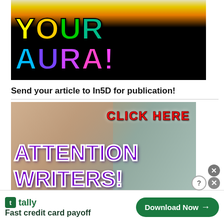[Figure (illustration): Colorful 'YOUR AURA!' text banner with rainbow-colored letters on black background with flame effects]
Send your article to In5D for publication!
[Figure (photo): Photo of hand writing with pen on paper, overlaid with 'CLICK HERE' in red and 'ATTENTION WRITERS!' in purple text]
[Figure (infographic): Tally app advertisement banner: 'Fast credit card payoff' with Download Now button]